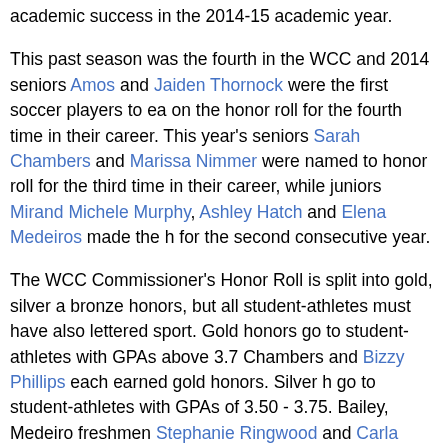academic success in the 2014-15 academic year.
This past season was the fourth in the WCC and 2014 seniors Amos and Jaiden Thornock were the first soccer players to ea on the honor roll for the fourth time in their career. This year's seniors Sarah Chambers and Marissa Nimmer were named to honor roll for the third time in their career, while juniors Mirand Michele Murphy, Ashley Hatch and Elena Medeiros made the h for the second consecutive year.
The WCC Commissioner's Honor Roll is split into gold, silver a bronze honors, but all student-athletes must have also lettered sport. Gold honors go to student-athletes with GPAs above 3.7 Chambers and Bizzy Phillips each earned gold honors. Silver h go to student-athletes with GPAs of 3.50 - 3.75. Bailey, Mdeir freshmen Stephanie Ringwood and Carla Swensen earned silv honors. Bronze honors go to student-athletes with GPAs abov Amos, Thornock, Hatch, Murphy, Nimmer, Taylor Campbell Iso Katherine Snyder earned bronze honors.